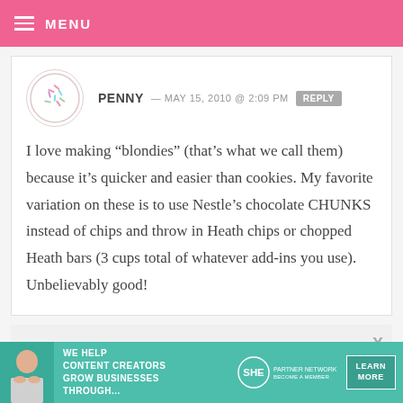MENU
PENNY — MAY 15, 2010 @ 2:09 PM  REPLY
I love making “blondies” (that’s what we call them) because it’s quicker and easier than cookies. My favorite variation on these is to use Nestle’s chocolate CHUNKS instead of chips and throw in Heath chips or chopped Heath bars (3 cups total of whatever add-ins you use). Unbelievably good!
[Figure (infographic): Advertisement banner: WE HELP CONTENT CREATORS GROW BUSINESSES THROUGH... with SHE Partner Network logo and LEARN MORE button]